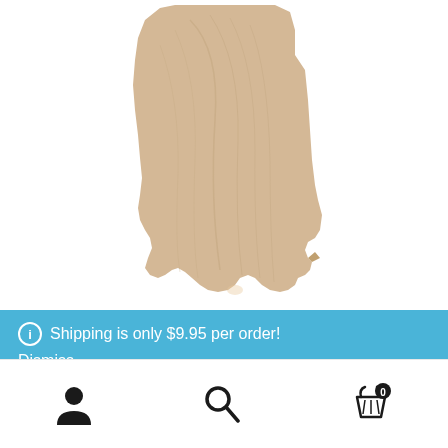[Figure (photo): A wood cutout in the shape of the state of Georgia, light maple/birch colored, on a white background, photographed from above showing the upper portion of the shape.]
Shipping is only $9.95 per order!
Dismiss
[Figure (other): Bottom navigation bar with three icons: a user/person icon on the left, a search/magnifying glass icon in the center, and a shopping cart icon with a badge showing 0 on the right.]